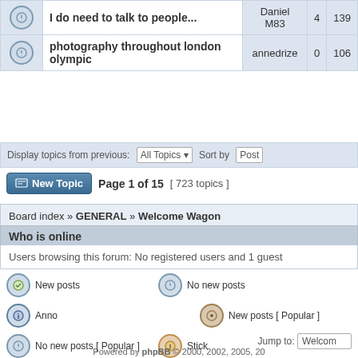|  | Topic | Author | Replies | Views |
| --- | --- | --- | --- | --- |
|  | I do need to talk to people... | Daniel M83 | 4 | 139 |
|  | photography throughout london olympic | annedrize | 0 | 106 |
Display topics from previous: All Topics ▼  Sort by  Post
New Topic   Page 1 of 15  [ 723 topics ]
Board index » GENERAL » Welcome Wagon
Who is online
Users browsing this forum: No registered users and 1 guest
New posts
No new posts
Anno
New posts [ Popular ]
No new posts [ Popular ]
Stick
New posts [ Locked ]
No new posts [ Locked ]
Move
Jump to: Welcom
Powered by phpBB © 2000, 2002, 2005, 20